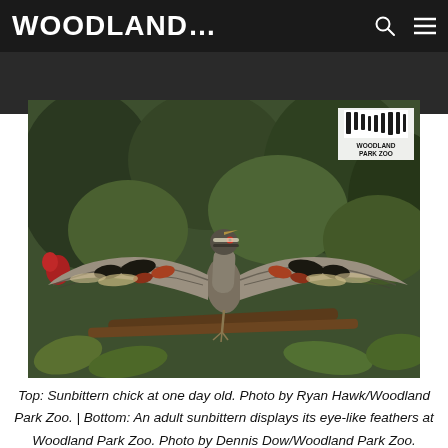WOODLAND...
[Figure (photo): An adult sunbittern bird with wings fully spread, displaying eye-like feather patterns, perched on a branch in a lush green setting. Woodland Park Zoo logo watermark in top right corner.]
Top: Sunbittern chick at one day old. Photo by Ryan Hawk/Woodland Park Zoo. | Bottom: An adult sunbittern displays its eye-like feathers at Woodland Park Zoo. Photo by Dennis Dow/Woodland Park Zoo.